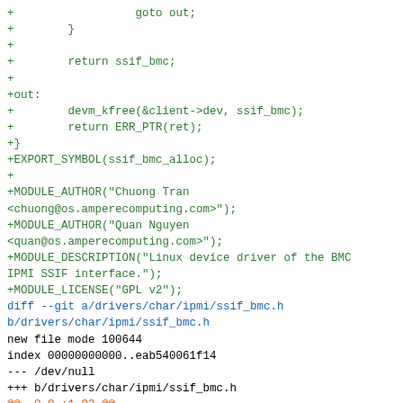git diff output showing code additions for ssif_bmc driver including MODULE_AUTHOR, MODULE_DESCRIPTION, MODULE_LICENSE macros, and the start of ssif_bmc.h header file diff